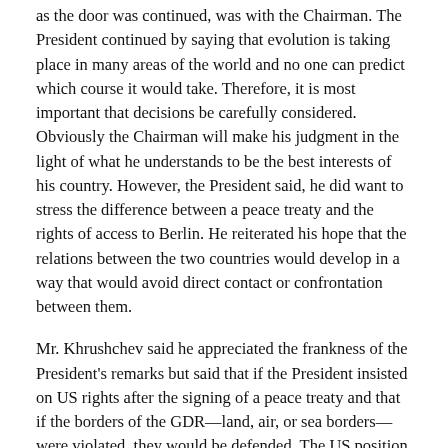as the door was continued, was with the Chairman. The President continued by saying that evolution is taking place in many areas of the world and no one can predict which course it would take. Therefore, it is most important that decisions be carefully considered. Obviously the Chairman will make his judgment in the light of what he understands to be the best interests of his country. However, the President said, he did want to stress the difference between a peace treaty and the rights of access to Berlin. He reiterated his hope that the relations between the two countries would develop in a way that would avoid direct contact or confrontation between them.
Mr. Khrushchev said he appreciated the frankness of the President's remarks but said that if the President insisted on US rights after the signing of a peace treaty and that if the borders of the GDR—land, air, or sea borders—were violated, they would be defended. The US position is not based on juridical grounds. The US wants to humiliate the USSR and this cannot be accepted. He said that he would not shirk his responsibility and would take any action that he is duty bound to take as Prime Minister. He would be glad if the US were to agree to an interim agreement on Germany and Berlin with a time limit so that the prestige and the